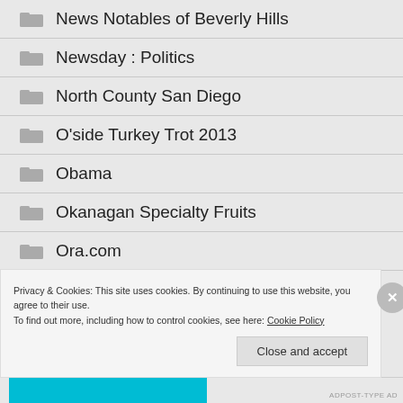News Notables of Beverly Hills
Newsday : Politics
North County San Diego
O'side Turkey Trot 2013
Obama
Okanagan Specialty Fruits
Ora.com
Orange County Convention Center
Privacy & Cookies: This site uses cookies. By continuing to use this website, you agree to their use.
To find out more, including how to control cookies, see here: Cookie Policy
Close and accept